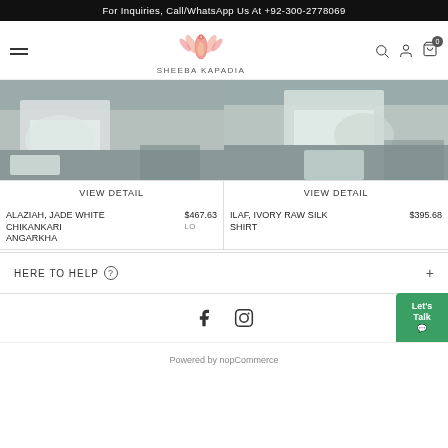For Inquiries, Call/WhatsApp Us At +92-300-2778069
[Figure (logo): Sheeba Kapadia logo - pink floral/peacock design with text SHEEBA KAPADIA below]
[Figure (photo): Product photo - Alaziah Jade White Chikankari Angarkha garment bottom portion]
VIEW DETAIL
ALAZIAH, JADE WHITE CHIKANKARI ANGARKHA
$467.63
[Figure (photo): Product photo - Ilaf Ivory Raw Silk Shirt garment bottom portion]
VIEW DETAIL
ILAF, IVORY RAW SILK SHIRT
$395.68
HERE TO HELP
[Figure (illustration): Facebook and Instagram social media icons]
Powered by nopCommerce